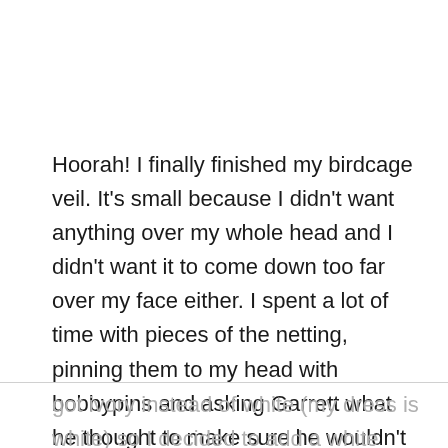Hoorah! I finally finished my birdcage veil. It's small because I didn't want anything over my whole head and I didn't want it to come down too far over my face either. I spent a lot of time with pieces of the netting, pinning them to my head with bobbypins and asking Garrett what he thought to make sure he wouldn't hate it (because I want the person I'm marrying to like the way I look, afterall).

I goofed when I ordered the netting off of ebay and got ivory instead of white (my dress is white) so I decided to add a white accent to it. Hence the white